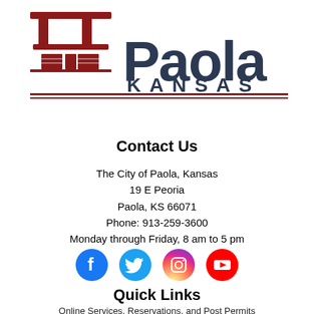[Figure (logo): Paola Kansas city logo with a courthouse/building icon in dark red and dark navy text reading 'Paola KANSAS']
Contact Us
The City of Paola, Kansas
19 E Peoria
Paola, KS 66071
Phone: 913-259-3600
Monday through Friday, 8 am to 5 pm
[Figure (infographic): Social media icons: Facebook (blue circle with f), Twitter (blue circle with bird), Instagram (gradient circle with camera), YouTube (red circle with play button)]
Quick Links
Online Services, Reservations, and Post Permits